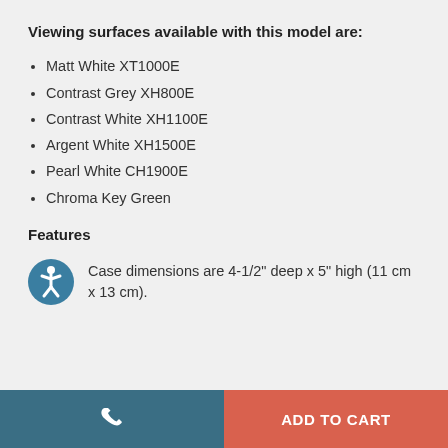Viewing surfaces available with this model are:
Matt White XT1000E
Contrast Grey XH800E
Contrast White XH1100E
Argent White XH1500E
Pearl White CH1900E
Chroma Key Green
Features
[Figure (illustration): Accessibility icon: blue circle with white stick figure person]
Case dimensions are 4-1/2" deep x 5" high (11 cm x 13 cm).